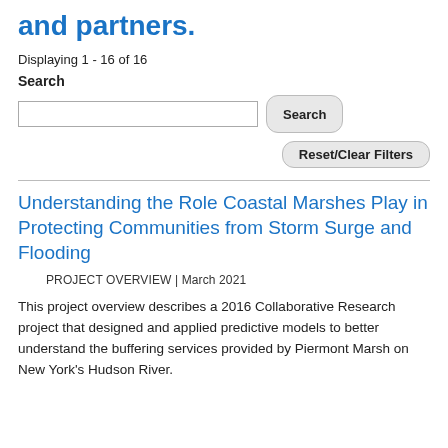and partners.
Displaying 1 - 16 of 16
Search
Understanding the Role Coastal Marshes Play in Protecting Communities from Storm Surge and Flooding
PROJECT OVERVIEW | March 2021
This project overview describes a 2016 Collaborative Research project that designed and applied predictive models to better understand the buffering services provided by Piermont Marsh on New York's Hudson River.